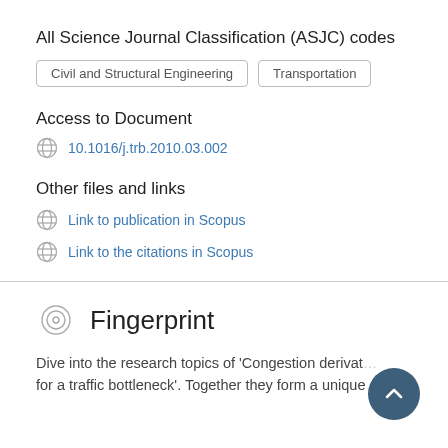All Science Journal Classification (ASJC) codes
Civil and Structural Engineering
Transportation
Access to Document
10.1016/j.trb.2010.03.002
Other files and links
Link to publication in Scopus
Link to the citations in Scopus
Fingerprint
Dive into the research topics of 'Congestion derivation for a traffic bottleneck'. Together they form a unique fingerprint.